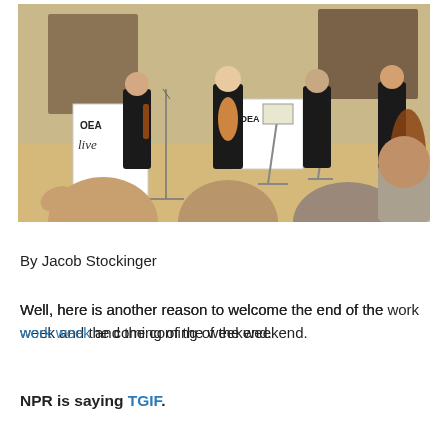[Figure (photo): Four musicians dressed in black standing in a gallery/museum room holding string instruments (violins, viola, double bass), with music stands and OEA Live signage visible, and an audience applauding in the foreground.]
By Jacob Stockinger
Well, here is another reason to welcome the end of the work week and the coming of the weekend.
NPR is saying TGIF.